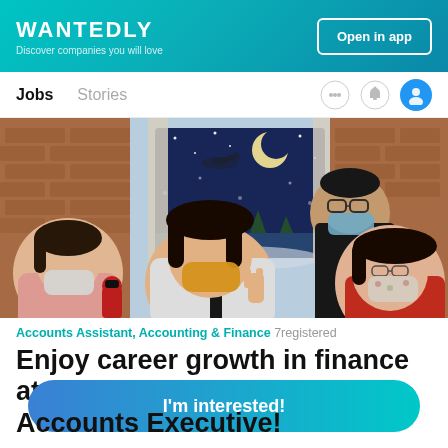WANTEDLY — Discover companies you will love
Open in app
Jobs   Stories
[Figure (photo): Four people wearing face masks posing together in front of a Christmas-themed backdrop with a window painting showing Santa's sleigh and a snowy village scene, brick wall background, office party setting.]
Accounts Assistant, Accounting & Finance   7registered
Enjoy career growth in finance at L...g... Accounts Executive!
I'm interested!